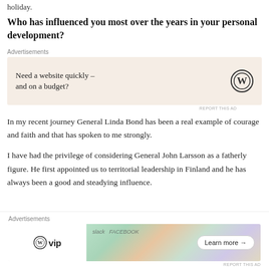holiday.
Who has influenced you most over the years in your personal development?
[Figure (other): Advertisement banner: 'Need a website quickly – and on a budget?' with WordPress logo on a beige/cream background]
In my recent journey General Linda Bond has been a real example of courage and faith and that has spoken to me strongly.
I have had the privilege of considering General John Larsson as a fatherly figure. He first appointed us to territorial leadership in Finland and he has always been a good and steadying influence.
[Figure (other): Advertisement banner for WordPress VIP with social media icons and 'Learn more' button]